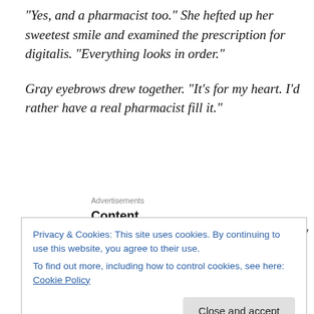“Yes, and a pharmacist too.” She hefted up her sweetest smile and examined the prescription for digitalis. “Everything looks in order.”
Gray eyebrows drew together. “It’s for my heart. I’d rather have a real pharmacist fill it.”
Advertisements
[Figure (other): Content Analytics Made Easy advertisement with Get A Demo button and Parse.ly logo]
In my new World War II novel, Anchor in the Storm, Lillian
Avery works as a pharmacist in Boston. Her new boss is
Privacy & Cookies: This site uses cookies. By continuing to use this website, you agree to their use.
To find out more, including how to control cookies, see here: Cookie Policy
Close and accept